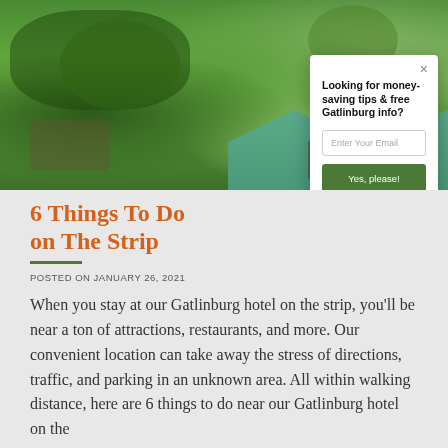[Figure (photo): Aerial or landscape photo of Gatlinburg area showing green trees and houses with teal/green rooftops against a wooded hillside background]
Looking for money-saving tips & free Gatlinburg info?
Enter Your Email
Yes, please!
6 Things To Do on The Strip
POSTED ON JANUARY 26, 2021
When you stay at our Gatlinburg hotel on the strip, you'll be near a ton of attractions, restaurants, and more. Our convenient location can take away the stress of directions, traffic, and parking in an unknown area. All within walking distance, here are 6 things to do near our Gatlinburg hotel on the strip.